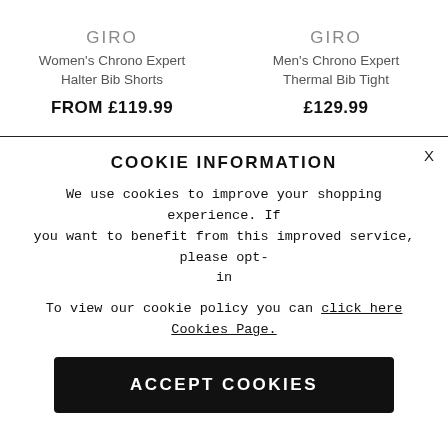GIRO
Women's Chrono Expert Halter Bib Shorts
FROM £119.99
GIRO
Men's Chrono Expert Thermal Bib Tight
£129.99
COOKIE INFORMATION
We use cookies to improve your shopping experience. If you want to benefit from this improved service, please opt-in
To view our cookie policy you can click here Cookies Page.
ACCEPT COOKIES